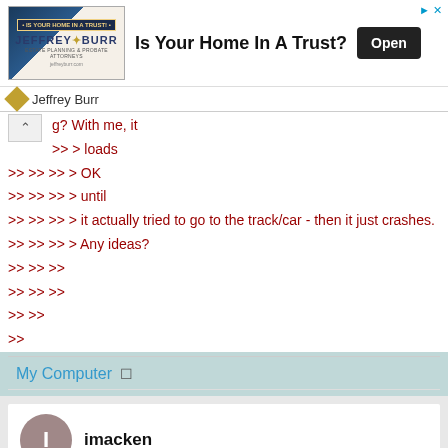[Figure (screenshot): Advertisement banner for Jeffrey Burr estate planning, showing logo image on left, headline 'Is Your Home In A Trust?' and Open button]
Jeffrey Burr
g?  With me, it
>> > loads
>> >> >> > OK
>> >> >> > until
>> >> >> > it actually tried to go to the track/car - then it just crashes.
>> >> >> > Any ideas?
>> >> >>
>> >> >>
>> >>
>>
My Computer
imacken